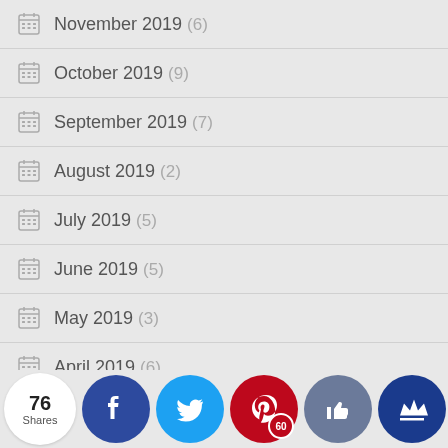November 2019 (6)
October 2019 (9)
September 2019 (7)
August 2019 (2)
July 2019 (5)
June 2019 (5)
May 2019 (3)
April 2019 (6)
March 2019 (5)
February ... (4)
76 Shares